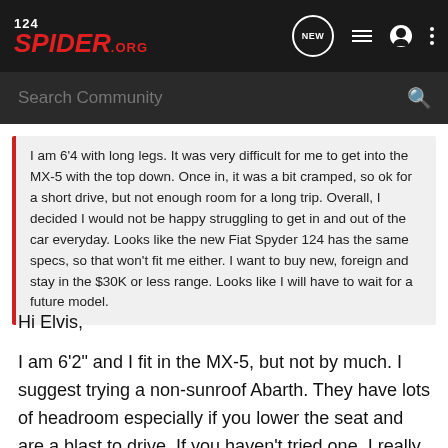124 SPIDER.ORG
Search Community
I am 6'4 with long legs. It was very difficult for me to get into the MX-5 with the top down. Once in, it was a bit cramped, so ok for a short drive, but not enough room for a long trip. Overall, I decided I would not be happy struggling to get in and out of the car everyday. Looks like the new Fiat Spyder 124 has the same specs, so that won't fit me either. I want to buy new, foreign and stay in the $30K or less range. Looks like I will have to wait for a future model.
Hi Elvis,
I am 6'2" and I fit in the MX-5, but not by much. I suggest trying a non-sunroof Abarth. They have lots of headroom especially if you lower the seat and are a blast to drive. If you haven't tried one, I really think you owe it to yourself to give it a shot.
Greg